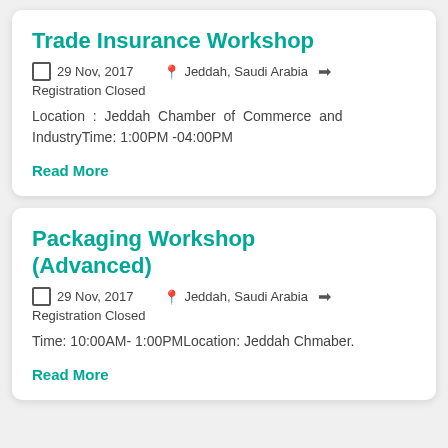Trade Insurance Workshop
29 Nov, 2017   Jeddah, Saudi Arabia   Registration Closed
Location : Jeddah Chamber of Commerce and IndustryTime: 1:00PM -04:00PM
Read More
Packaging Workshop (Advanced)
29 Nov, 2017   Jeddah, Saudi Arabia   Registration Closed
Time: 10:00AM- 1:00PMLocation: Jeddah Chmaber.
Read More